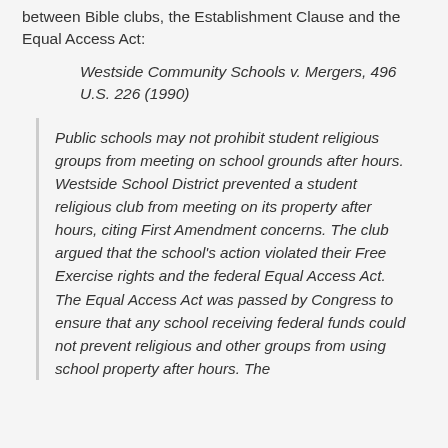between Bible clubs, the Establishment Clause and the Equal Access Act:
Westside Community Schools v. Mergers, 496 U.S. 226 (1990)
Public schools may not prohibit student religious groups from meeting on school grounds after hours. Westside School District prevented a student religious club from meeting on its property after hours, citing First Amendment concerns. The club argued that the school's action violated their Free Exercise rights and the federal Equal Access Act. The Equal Access Act was passed by Congress to ensure that any school receiving federal funds could not prevent religious and other groups from using school property after hours. The